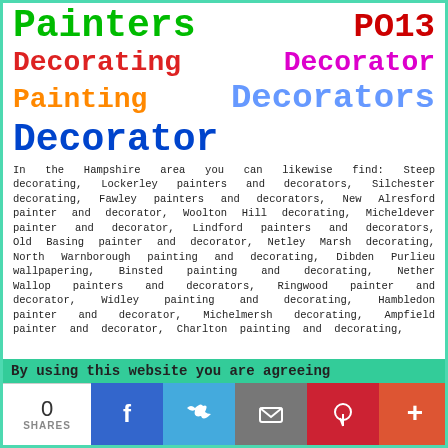Painters   PO13
Decorating   Decorator
Painting   Decorators
Decorator
In the Hampshire area you can likewise find: Steep decorating, Lockerley painters and decorators, Silchester decorating, Fawley painters and decorators, New Alresford painter and decorator, Woolton Hill decorating, Micheldever painter and decorator, Lindford painters and decorators, Old Basing painter and decorator, Netley Marsh decorating, North Warnborough painting and decorating, Dibden Purlieu wallpapering, Binsted painting and decorating, Nether Wallop painters and decorators, Ringwood painter and decorator, Widley painting and decorating, Hambledon painter and decorator, Michelmersh decorating, Ampfield painter and decorator, Charlton painting and decorating,
By using this website you are agreeing
0 SHARES